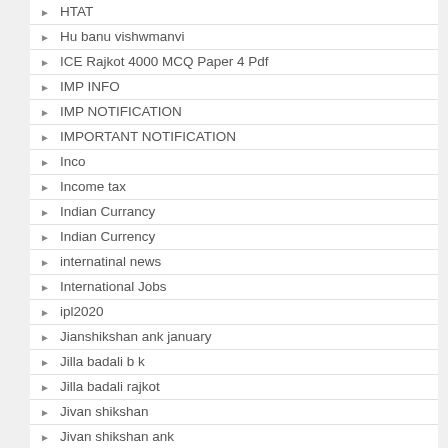HTAT
Hu banu vishwmanvi
ICE Rajkot 4000 MCQ Paper 4 Pdf
IMP INFO
IMP NOTIFICATION
IMPORTANT NOTIFICATION
Inco
Income tax
Indian Currancy
Indian Currency
internatinal news
International Jobs
ipl2020
Jianshikshan ank january
Jilla badali b k
Jilla badali rajkot
Jivan shikshan
Jivan shikshan ank
Jobs